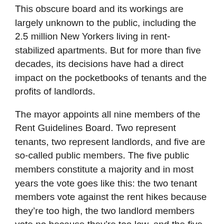This obscure board and its workings are largely unknown to the public, including the 2.5 million New Yorkers living in rent-stabilized apartments. But for more than five decades, its decisions have had a direct impact on the pocketbooks of tenants and the profits of landlords.
The mayor appoints all nine members of the Rent Guidelines Board. Two represent tenants, two represent landlords, and five are so-called public members. The five public members constitute a majority and in most years the vote goes like this: the two tenant members vote against the rent hikes because they’re too high, the two landlord members vote no because they’re too low, and the five public members come in somewhere in the middle with a “reasonable compromise.” It’s an annual charade; the May 5 preliminary vote broke down this way, as no doubt will the June 21 final vote.
Under Mayor Koch, Giuliani and Bloom...